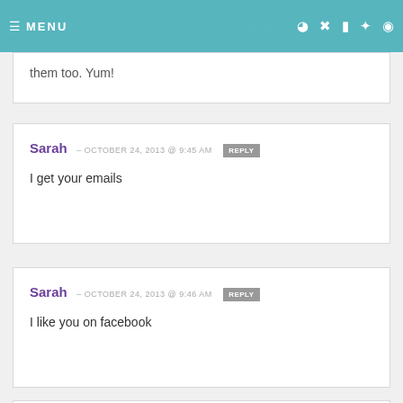MENU
I think my favorite way to eat avocados is sliced up in a salad. I also really love making my own guacamole with them too. Yum!
Sarah – OCTOBER 24, 2013 @ 9:45 AM REPLY
I get your emails
Sarah – OCTOBER 24, 2013 @ 9:46 AM REPLY
I like you on facebook